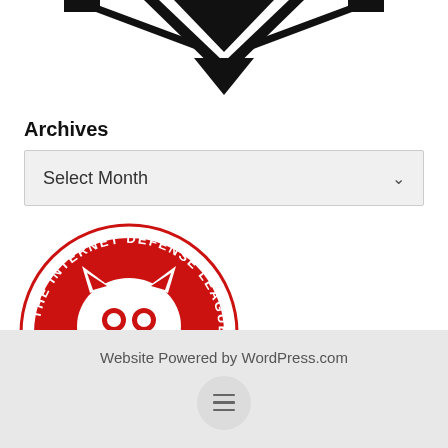[Figure (logo): Partial logo — black geometric/layered diamond/chevron shape at top of page]
Archives
[Figure (other): Select Month dropdown UI element with chevron]
[Figure (logo): The Internet Defense League — Proud Member badge: red circular badge with cat face illustration]
Website Powered by WordPress.com